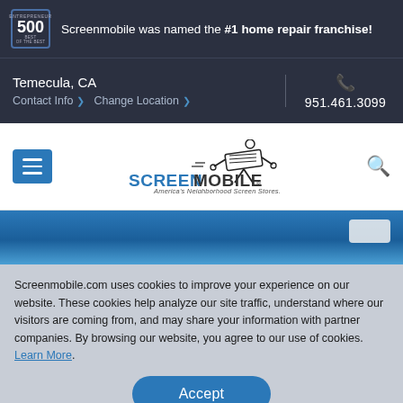Screenmobile was named the #1 home repair franchise!
Temecula, CA
Contact Info > Change Location >
951.461.3099
[Figure (logo): Screenmobile logo with screen installer figure and text: SCREENMOBILE America's Neighborhood Screen Stores]
Screenmobile.com uses cookies to improve your experience on our website. These cookies help analyze our site traffic, understand where our visitors are coming from, and may share your information with partner companies. By browsing our website, you agree to our use of cookies. Learn More.
Accept